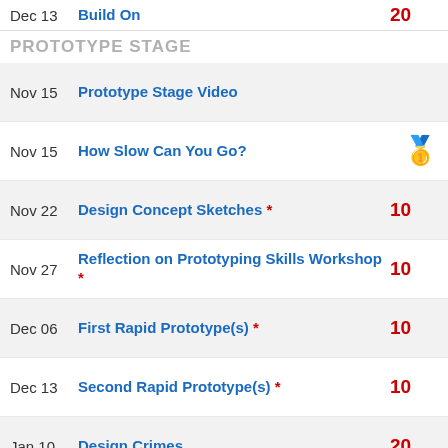Dec 13  Build On  20
PROTOTYPE STAGE
Nov 15  Prototype Stage Video
Nov 15  How Slow Can You Go?  [medal]
Nov 22  Design Concept Sketches *  10
Nov 27  Reflection on Prototyping Skills Workshop *  10
Dec 06  First Rapid Prototype(s) *  10
Dec 13  Second Rapid Prototype(s) *  10
Jan 10  Design Crimes  20
TEST STAGE
Test Stage